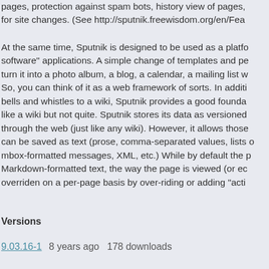pages, protection against spam bots, history view of pages, for site changes. (See http://sputnik.freewisdom.org/en/Fea
At the same time, Sputnik is designed to be used as a platform for "groupware" or "social software" applications. A simple change of templates and permissions can turn it into a photo album, a blog, a calendar, a mailing list with archives, etc. So, you can think of it as a web framework of sorts. In addition to adding all the bells and whistles to a wiki, Sputnik provides a good foundation for applications that look like a wiki but not quite. Sputnik stores its data as versioned pages that can be edited through the web (just like any wiki). However, it allows those pages to have content that can be saved as text (prose, comma-separated values, lists of tasks, mbox-formatted messages, XML, etc.) While by default the page saves plain Markdown-formatted text, the way the page is viewed (or edited) can be overriden on a per-page basis by over-riding or adding "acti
Versions
9.03.16-1  8 years ago  178 downloads